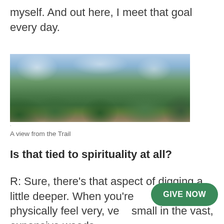myself. And out here, I meet that goal every day.
[Figure (photo): Panoramic view from the Appalachian Trail showing forested mountains, valleys, rocky terrain, and a partly cloudy sky]
A view from the Trail
Is that tied to spirituality at all?
R: Sure, there's that aspect of digging a little deeper. When you're out there, you physically feel very, very small in the vast, expansive woods